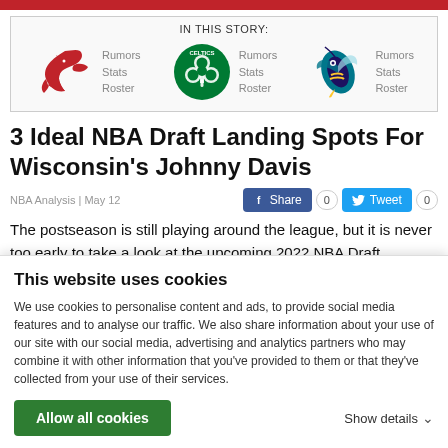[Figure (infographic): Red top bar accent stripe]
IN THIS STORY:
[Figure (logo): Atlanta Hawks logo (red hawk), Boston Celtics logo (green clover), Charlotte Hornets logo (teal hornet) with Rumors, Stats, Roster links for each team]
3 Ideal NBA Draft Landing Spots For Wisconsin's Johnny Davis
NBA Analysis | May 12
The postseason is still playing around the league, but it is never too early to take a look at the upcoming 2022 NBA Draft.
This website uses cookies
We use cookies to personalise content and ads, to provide social media features and to analyse our traffic. We also share information about your use of our site with our social media, advertising and analytics partners who may combine it with other information that you've provided to them or that they've collected from your use of their services.
Allow all cookies
Show details